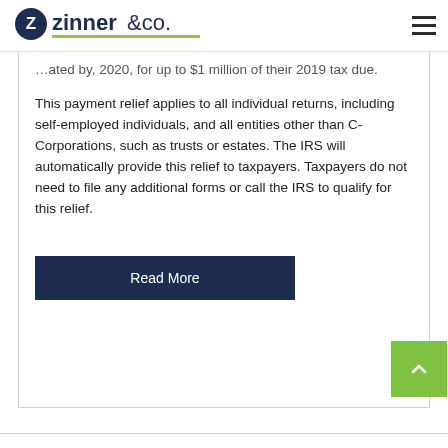Zinner & Co.
...ated by, 2020, for up to $1 million of their 2019 tax due.
This payment relief applies to all individual returns, including self-employed individuals, and all entities other than C-Corporations, such as trusts or estates. The IRS will automatically provide this relief to taxpayers. Taxpayers do not need to file any additional forms or call the IRS to qualify for this relief.